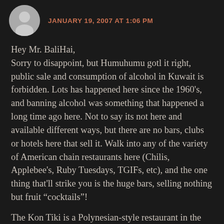JANUARY 19, 2007 AT 1:06 PM
Hey Mr. BaliHai,
Sorry to disappoint, but Humuhumu gotl it right, public sale and consumption of alcohol in Kuwait is forbidden. Lots has happened here since the 1960's, and banning alcohol was something that happened a long time ago here. Not to say its not here and available different ways, but there are no bars, clubs or hotels here that sell it. Walk into any of the variety of American chain restaurants here (Chilis, Applebee's, Ruby Tuesdays, TGIFs, etc), and the one thing that'll strike you is the huge bars, selling nothing but fruit “cocktails”!
The Kon Tiki is a Polynesian-style restaurant in the Trader Vic’s mode, and the food is actually very good, if somewhat pricey. Speaking of Trader Vic’s,